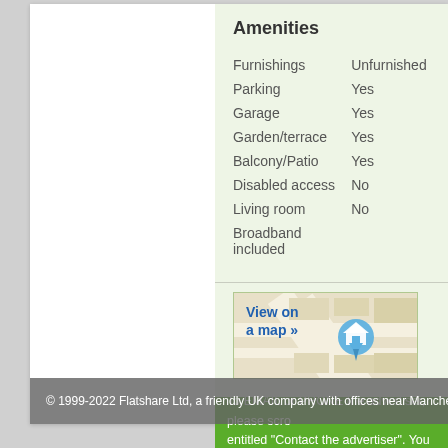Amenities
|  |  |
| --- | --- |
| Furnishings | Unfurnished |
| Parking | Yes |
| Garage | Yes |
| Garden/terrace | Yes |
| Balcony/Patio | Yes |
| Disabled access | No |
| Living room | No |
| Broadband included |  |
[Figure (map): View on a map link with map thumbnail showing a house/home location marker pin on a street map]
To EMAIL or PHONE the advertiser, please scro entitled "Contact the advertiser". You can call o
© 1999-2022 Flatshare Ltd, a friendly UK company with offices near Manchester a